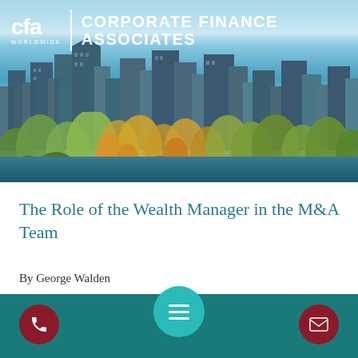[Figure (photo): City skyline with autumn trees and lake in foreground, with CFA Corporate Finance Associates logo overlay]
The Role of the Wealth Manager in the M&A Team
By George Walden
[Figure (infographic): Bottom teal navigation bar with phone icon (left), menu hamburger icon (center teal circle), email icon (right), and partial text 'to...e']